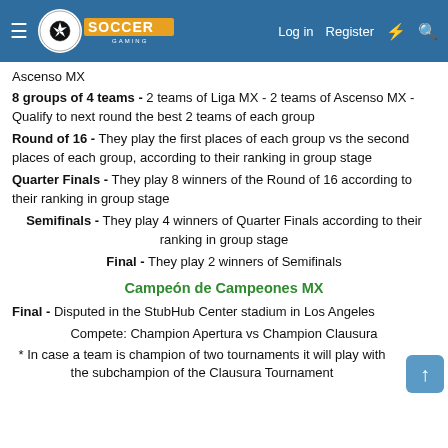Soccer Gaming — Log in | Register
Ascenso MX
8 groups of 4 teams - 2 teams of Liga MX - 2 teams of Ascenso MX - Qualify to next round the best 2 teams of each group
Round of 16 - They play the first places of each group vs the second places of each group, according to their ranking in group stage
Quarter Finals - They play 8 winners of the Round of 16 according to their ranking in group stage
Semifinals - They play 4 winners of Quarter Finals according to their ranking in group stage
Final - They play 2 winners of Semifinals
Campeón de Campeones MX
Final - Disputed in the StubHub Center stadium in Los Angeles
Compete: Champion Apertura vs Champion Clausura
* In case a team is champion of two tournaments it will play with the subchampion of the Clausura Tournament